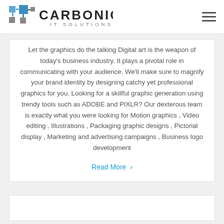Carbonic IT Solutions
Let the graphics do the talking Digital art is the weapon of today's business industry. It plays a pivotal role in communicating with your audience. We'll make sure to magnify your brand identity by designing catchy yet professional graphics for you. Looking for a skillful graphic generation using trendy tools such as ADOBE and PIXLR? Our dexterous team is exactly what you were looking for Motion graphics , Video editing , Illustrations , Packaging graphic designs , Pictorial display , Marketing and advertising campaigns , Business logo development
Read More >